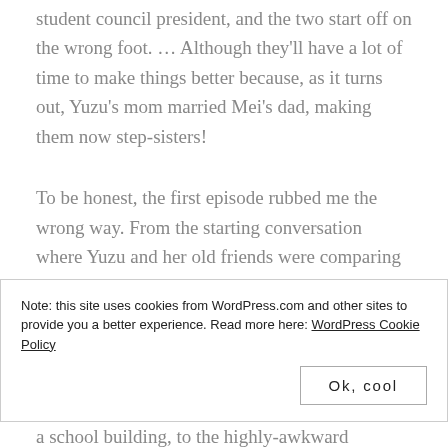student council president, and the two start off on the wrong foot. … Although they'll have a lot of time to make things better because, as it turns out, Yuzu's mom married Mei's dad, making them now step-sisters!
To be honest, the first episode rubbed me the wrong way. From the starting conversation where Yuzu and her old friends were comparing guys and talking about having dumped them, to Yuzu's confrontation with the student council
Note: this site uses cookies from WordPress.com and other sites to provide you a better experience. Read more here: WordPress Cookie Policy
Ok, cool
a school building, to the highly-awkward